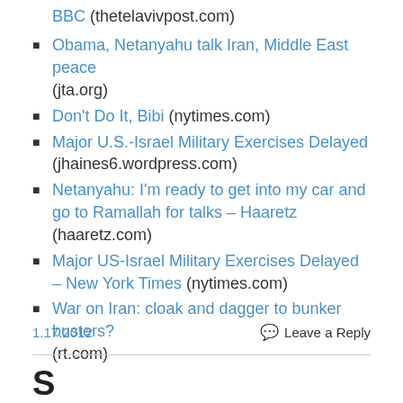BBC (thetelavivpost.com)
Obama, Netanyahu talk Iran, Middle East peace (jta.org)
Don't Do It, Bibi (nytimes.com)
Major U.S.-Israel Military Exercises Delayed (jhaines6.wordpress.com)
Netanyahu: I'm ready to get into my car and go to Ramallah for talks – Haaretz (haaretz.com)
Major US-Israel Military Exercises Delayed – New York Times (nytimes.com)
War on Iran: cloak and dagger to bunker busters? (rt.com)
1.17.2012   Leave a Reply
S